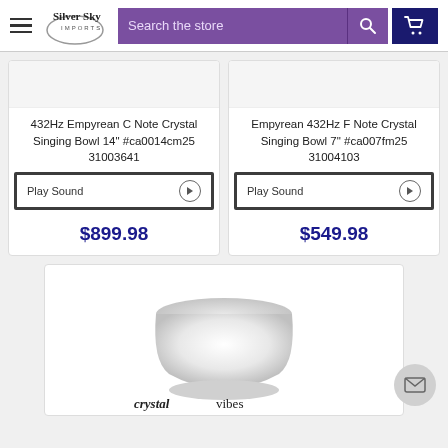Silver Sky Imports - Search the store
432Hz Empyrean C Note Crystal Singing Bowl 14" #ca0014cm25 31003641
Play Sound
$899.98
Empyrean 432Hz F Note Crystal Singing Bowl 7" #ca007fm25 31004103
Play Sound
$549.98
[Figure (photo): A white crystal singing bowl with Crystal Vibes logo below]